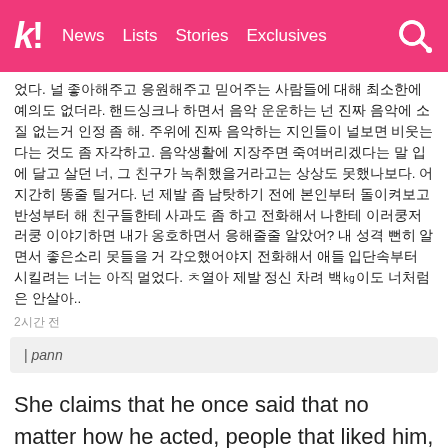k! News Lists Stories Exclusives
었다. 널 좋아해주고 응원해주고 믿어주는 사람들에 대해 최소한에 예의도 없더라. 핸드싱크나 하면서 음악 운운하는 넌 진짜 음악에 소질 없는거 인정 좀 해. 주위에 진짜 음악하는 지인들이 널보면 비웃는다는 것도 좀 자각하고. 음악생활에 지장주면 죽여버리겠다는 말 입에 달고 살던 너, 그 친구가 녹취했을거라고는 상상도 못했나보다. 어지간히 똥줄 틸거다. 넌 제발 좀 남탓하기 전에 본인부터 돌이켜보고 반성부터 해 친구들한테 사과도 좀 하고 전화해서 나한테 이러쿵저러쿵 이야기하면 내가 옹호하면서 응해줄줄 알았어? 내 성격 뻔히 알면서 좋은소리 못들을 거 각오했어야지 전화해서 애들 입단속부터 시킬려는 너는 아직 멀었다. ㅊ열아 제발 정신 차려 백㎏이도 너처럼은 안살아..
2시간 전
| pann
She claims that he once said that no matter how he acted, people that liked him, would still like him anyway. However, she also criticizes him for lacking basic manners towards people.